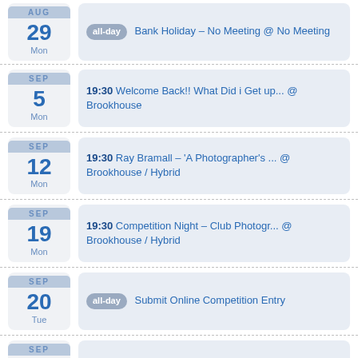AUG 29 Mon — all-day Bank Holiday – No Meeting @ No Meeting
SEP 5 Mon — 19:30 Welcome Back!! What Did i Get up... @ Brookhouse
SEP 12 Mon — 19:30 Ray Bramall – 'A Photographer's ... @ Brookhouse / Hybrid
SEP 19 Mon — 19:30 Competition Night – Club Photogr... @ Brookhouse / Hybrid
SEP 20 Tue — all-day Submit Online Competition Entry
SEP 26 Mon — 19:30 Members Showcase 3 – Tim Jonas "... @ Brookhouse / Hybrid
OCT — 19:30 Interclub Competition with Port ... @